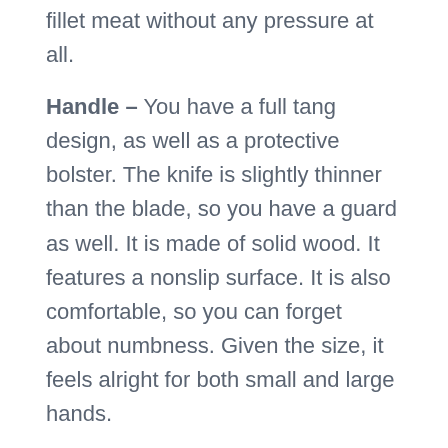fillet meat without any pressure at all.
Handle – You have a full tang design, as well as a protective bolster. The knife is slightly thinner than the blade, so you have a guard as well. It is made of solid wood. It features a nonslip surface. It is also comfortable, so you can forget about numbness. Given the size, it feels alright for both small and large hands.
Versatility – The knife is extremely versatile. Given its profile and design, it makes an excellent choice for sushi. However, it is ideal for all kinds of tasks in your kitchen too – mincing, dicing, slicing, chopping, cutting, and filleting. Try to stick to soft